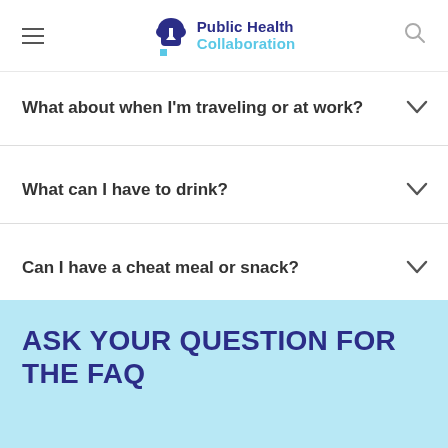Public Health Collaboration
What about when I'm traveling or at work?
What can I have to drink?
Can I have a cheat meal or snack?
Eating out and holidays
ASK YOUR QUESTION FOR THE FAQ